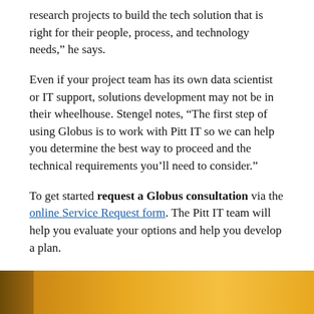research projects to build the tech solution that is right for their people, process, and technology needs,” he says.
Even if your project team has its own data scientist or IT support, solutions development may not be in their wheelhouse. Stengel notes, “The first step of using Globus is to work with Pitt IT so we can help you determine the best way to proceed and the technical requirements you’ll need to consider.”
To get started request a Globus consultation via the online Service Request form. The Pitt IT team will help you evaluate your options and help you develop a plan.
– By Karen Beaudway, Pitt IT Blogger
[Figure (photo): Bottom strip of a photo showing a golden/amber colored background, partially visible on the lower portion of the page.]